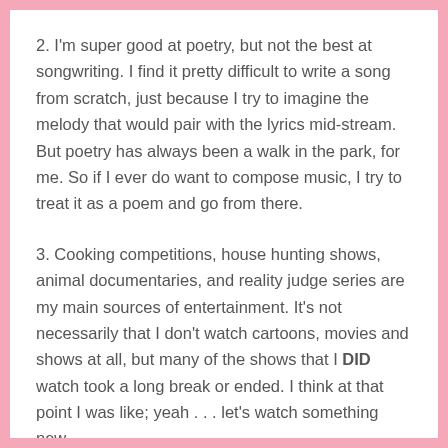2. I'm super good at poetry, but not the best at songwriting. I find it pretty difficult to write a song from scratch, just because I try to imagine the melody that would pair with the lyrics mid-stream. But poetry has always been a walk in the park, for me. So if I ever do want to compose music, I try to treat it as a poem and go from there.
3. Cooking competitions, house hunting shows, animal documentaries, and reality judge series are my main sources of entertainment. It's not necessarily that I don't watch cartoons, movies and shows at all, but many of the shows that I DID watch took a long break or ended. I think at that point I was like; yeah . . . let's watch something new.
4. When I was little, this family friend gave me this